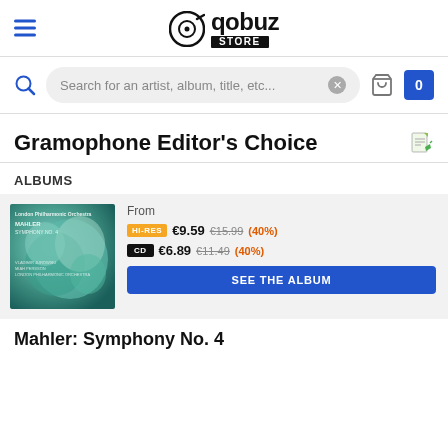Qobuz Store
Search for an artist, album, title, etc...
Gramophone Editor's Choice
ALBUMS
[Figure (photo): Album cover for Mahler: Symphony No. 4, London Philharmonic Orchestra, teal/green abstract art]
From
HI-RES €9.59 €15.99 (40%)
CD €6.89 €11.49 (40%)
SEE THE ALBUM
Mahler: Symphony No. 4